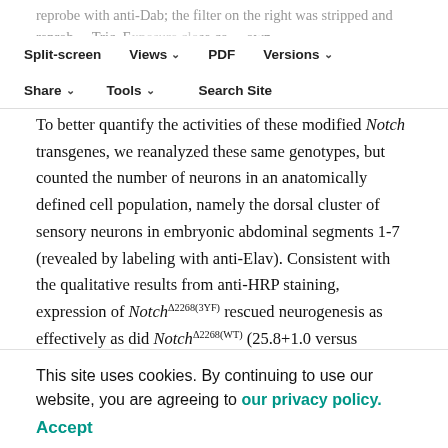reprobe with anti-Dab; the filter on the right was stripped and reprob… Tric. Exposure clo… aligned under the appropriate gel lanes (dotted lines), with Dab- and Trio-spec… indica…
Split-screen | Views | PDF | Versions | Share | Tools | Search Site
To better quantify the activities of these modified Notch transgenes, we reanalyzed these same genotypes, but counted the number of neurons in an anatomically defined cell population, namely the dorsal cluster of sensory neurons in embryonic abdominal segments 1-7 (revealed by labeling with anti-Elav). Consistent with the qualitative results from anti-HRP staining, expression of Notch^Δ2268(3YF) rescued neurogenesis as effectively as did Notch^Δ2268(WT) (25.8+1.0 versus 27.1+0.9 dorsal sensory neurons per
…was even … neuron … (11.9±0.3 neurons per hemisegment) (Fig. 7A-E,
This site uses cookies. By continuing to use our website, you are agreeing to our privacy policy. Accept